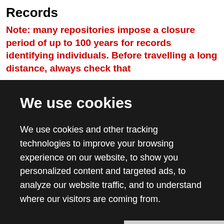Records
Note: many repositories impose a closure period of up to 100 years for records identifying individuals. Before travelling a long distance, always check that
We use cookies
We use cookies and other tracking technologies to improve your browsing experience on our website, to show you personalized content and targeted ads, to analyze our website traffic, and to understand where our visitors are coming from.
I agree | Change my preferences